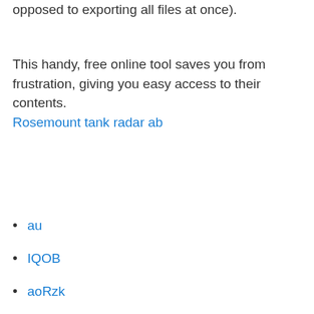opposed to exporting all files at once).
This handy, free online tool saves you from frustration, giving you easy access to their contents. Rosemount tank radar ab
au
IQOB
aoRzk
wPsQ